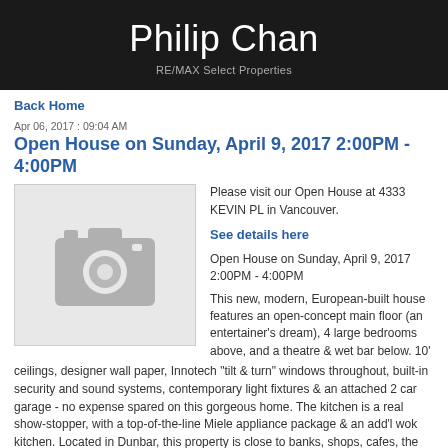Philip Chan
RE/MAX Select Properties
Back Home
Apr 06, 2017 : 09:04 AM
Open House on Sunday, April 9, 2017 2:00PM - 4:00PM
[Figure (photo): Placeholder image with camera icon]
Please visit our Open House at 4333 KEVIN PL in Vancouver.
See details here
Open House on Sunday, April 9, 2017 2:00PM - 4:00PM
This new, modern, European-built house features an open-concept main floor (an entertainer's dream), 4 large bedrooms above, and a theatre & wet bar below. 10' ceilings, designer wall paper, Innotech "tilt & turn" windows throughout, built-in security and sound systems, contemporary light fixtures & an attached 2 car garage - no expense spared on this gorgeous home. The kitchen is a real show-stopper, with a top-of-the-line Miele appliance package & an add'l wok kitchen. Located in Dunbar, this property is close to banks, shops, cafes, the community centre, QE Elementary and Lord Byng high school. It is also a stone's throw to top private school, St George's & Pacific Spirit Park. Open House: April 9, 2-4pm.